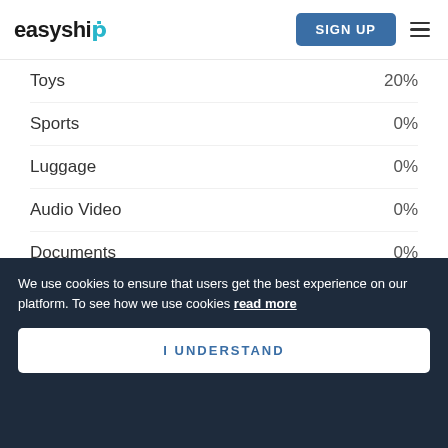easyship | SIGN UP
| Category | Rate |
| --- | --- |
| Toys | 20% |
| Sports | 0% |
| Luggage | 0% |
| Audio Video | 0% |
| Documents | 0% |
| Gaming | 0% |
| Books & Collectibles | 0% |
We try our best to keep this information as accurate as possible, but this information is liable to change at any time.
We use cookies to ensure that users get the best experience on our platform. To see how we use cookies read more
I UNDERSTAND